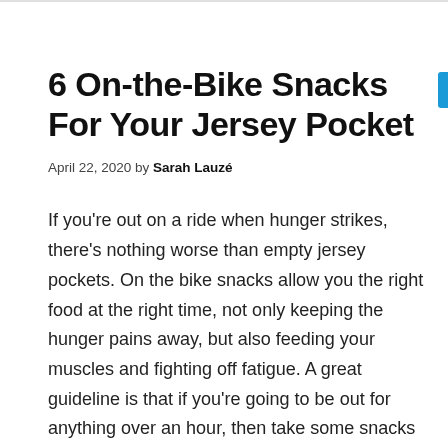6 On-the-Bike Snacks For Your Jersey Pocket
April 22, 2020 by Sarah Lauzé
If you're out on a ride when hunger strikes, there's nothing worse than empty jersey pockets. On the bike snacks allow you the right food at the right time, not only keeping the hunger pains away, but also feeding your muscles and fighting off fatigue. A great guideline is that if you're going to be out for anything over an hour, then take some snacks along.
That being said, as much as the right foods can have a positive effect on your ride, the wrong foods can have the